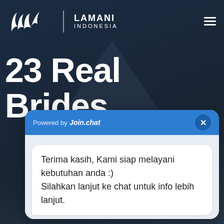[Figure (screenshot): Lamani Indonesia website screenshot with chat widget overlay. Dark navy background with white logo and large white text '23 Real Brides'. A blue and white chat widget is open showing a message and a 'Kirim Pesan' (Send Message) button.]
LAMANI INDONESIA
23 Real Brides
Powered by Join.chat
Terima kasih, Kami siap melayani kebutuhan anda :)
Silahkan lanjut ke chat untuk info lebih lanjut.
Kirim Pesan